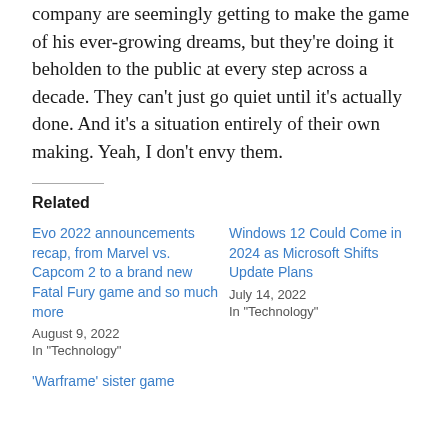company are seemingly getting to make the game of his ever-growing dreams, but they're doing it beholden to the public at every step across a decade. They can't just go quiet until it's actually done. And it's a situation entirely of their own making. Yeah, I don't envy them.
Related
Evo 2022 announcements recap, from Marvel vs. Capcom 2 to a brand new Fatal Fury game and so much more
August 9, 2022
In "Technology"
Windows 12 Could Come in 2024 as Microsoft Shifts Update Plans
July 14, 2022
In "Technology"
'Warframe' sister game